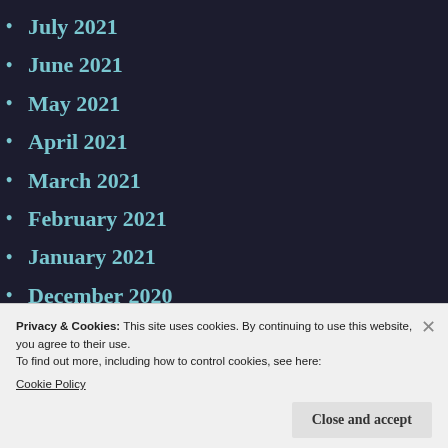July 2021
June 2021
May 2021
April 2021
March 2021
February 2021
January 2021
December 2020
November 2020
October 2020
September 2020
Privacy & Cookies: This site uses cookies. By continuing to use this website, you agree to their use.
To find out more, including how to control cookies, see here:
Cookie Policy
Close and accept